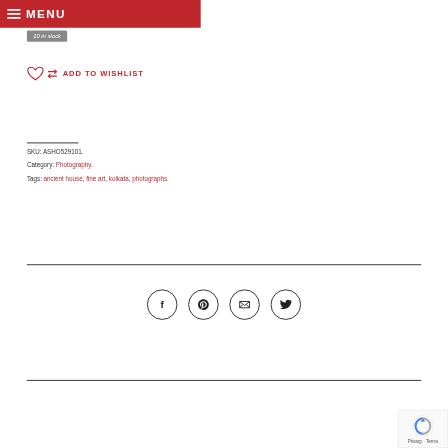MENU
10 in stock
ADD TO WISHLIST
SKU: ASHO529101.
Category: Photography.
Tags: ancient house, fine art, kolkata, photographs.
[Figure (infographic): Social sharing icons: Facebook, Pinterest, Email, Twitter — each in a circle outline]
[Figure (logo): Google reCAPTCHA badge with Privacy and Terms links]